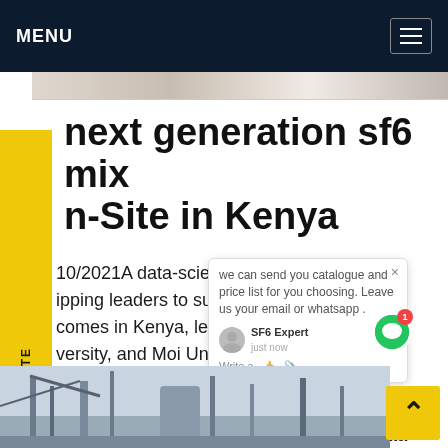MENU
[Figure (photo): Partial image of a scene, cropped horizontal strip at top of page]
next generation sf6 mix n-Site in Kenya
REQUEST A QUOTE
10/2021A data-science training p hipping leaders to support impro e comes in Kenya, led by a team fr wn versity, and Moi University in Ke en as of 19 initiatives funded by The National Institutes Health (NIH) under its new Harnessing Data ence for Health Discovery and Innovation in Africa 1 Africa) program.Get price
[Figure (photo): Industrial/infrastructure scene with cranes and structures, bottom image strip]
[Figure (other): Chat popup overlay with SF6 Expert message: we can send you catalogue and price list for you choosing. Leave us your email or whatsapp.]